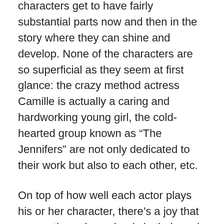characters get to have fairly substantial parts now and then in the story where they can shine and develop. None of the characters are so superficial as they seem at first glance: the crazy method actress Camille is actually a caring and hardworking young girl, the cold-hearted group known as “The Jennifers” are not only dedicated to their work but also to each other, etc.
On top of how well each actor plays his or her character, there’s a joy that comes through so clearly in their work that makes the show wonderful to watch. It’s clear that everyone on this set is having a great time with each other and loving what they do, thereby making the finished product that much better.
I have so much more to say but I think this is gonna need to be split into at least one more part so I’ll end it here for